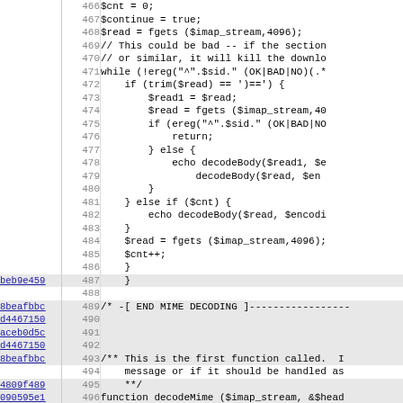[Figure (screenshot): Source code viewer showing PHP code lines 466-498 with line numbers, commit hashes as hyperlinks, and code content. Lines include PHP variables, fgets, ereg, trim, echo, decodeBody, decodeMime function calls and MIME decoding block.]